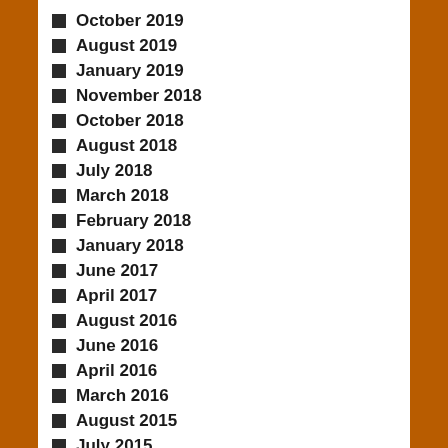October 2019
August 2019
January 2019
November 2018
October 2018
August 2018
July 2018
March 2018
February 2018
January 2018
June 2017
April 2017
August 2016
June 2016
April 2016
March 2016
August 2015
July 2015
December 2014
November 2014
October 2014
May 2014
April 2014